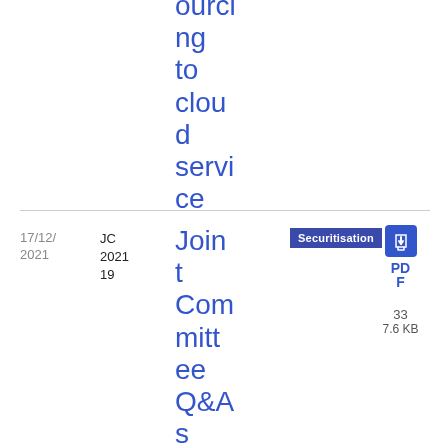ourcing to cloud service providers
17/12/2021
JC 2021 19
Joint Committee Q&As relating to the Securitisation
Securitisation Q&A
PDF 33 7.6 KB